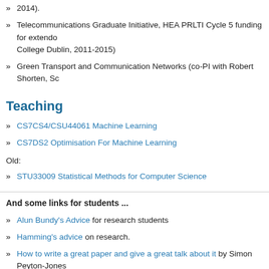2014).
Telecommunications Graduate Initiative, HEA PRLTI Cycle 5 funding for extendo College Dublin, 2011-2015)
Green Transport and Communication Networks (co-PI with Robert Shorten, Sc
Teaching
CS7CS4/CSU44061 Machine Learning
CS7DS2 Optimisation For Machine Learning
Old:
STU33009 Statistical Methods for Computer Science
And some links for students ...
Alun Bundy's Advice for research students
Hamming's advice on research.
How to write a great paper and give a great talk about it by Simon Peyton-Jones